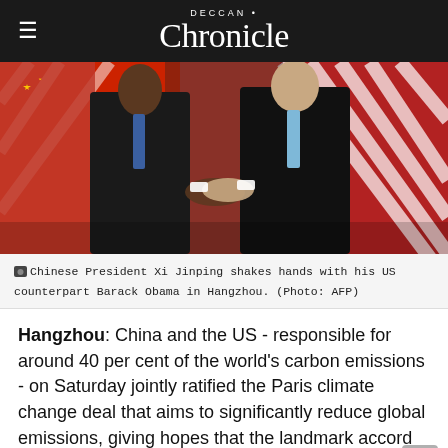DECCAN Chronicle
[Figure (photo): Chinese President Xi Jinping and US President Barack Obama shaking hands in front of Chinese and American flags in Hangzhou.]
Chinese President Xi Jinping shakes hands with his US counterpart Barack Obama in Hangzhou. (Photo: AFP)
Hangzhou: China and the US - responsible for around 40 per cent of the world's carbon emissions - on Saturday jointly ratified the Paris climate change deal that aims to significantly reduce global emissions, giving hopes that the landmark accord may come into effect by the end of this year.